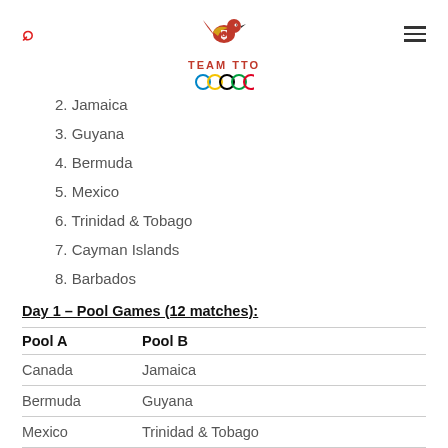TEAM TTO
2. Jamaica
3. Guyana
4. Bermuda
5. Mexico
6. Trinidad & Tobago
7. Cayman Islands
8. Barbados
Day 1 – Pool Games (12 matches):
| Pool A | Pool B |
| --- | --- |
| Canada | Jamaica |
| Bermuda | Guyana |
| Mexico | Trinidad & Tobago |
| Barbados | Cayman Islands |